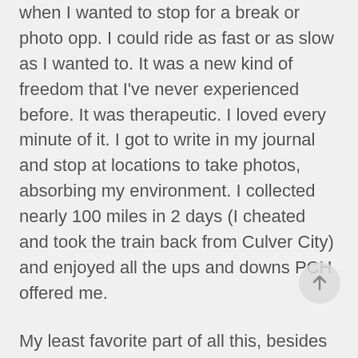when I wanted to stop for a break or photo opp.  I could ride as fast or as slow as I wanted to.  It was a new kind of freedom that I've never experienced before.  It was therapeutic.  I loved every minute of it.  I got to write in my journal and stop at locations to take photos, absorbing my environment.  I collected nearly 100 miles in 2 days (I cheated and took the train back from Culver City) and enjoyed all the ups and downs PCH offered me.
My least favorite part of all this, besides the restless night, was riding in Santa Monica to Venice with pedestrians and cyclists intermingling on the bike paths.  I suppose I can't have it all.  I did encounter very